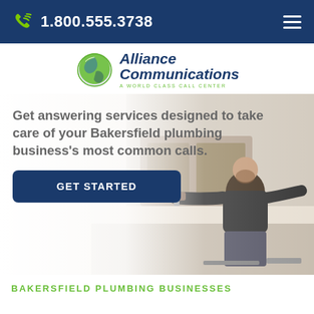1.800.555.3738
[Figure (logo): Alliance Communications logo with green globe icon and text 'Alliance Communications — A WORLD CLASS CALL CENTER']
[Figure (photo): Hero section with a plumber working under a sink on the right, and overlaid text on the left reading 'Get answering services designed to take care of your Bakersfield plumbing business's most common calls.' with a 'GET STARTED' button]
BAKERSFIELD PLUMBING BUSINESSES